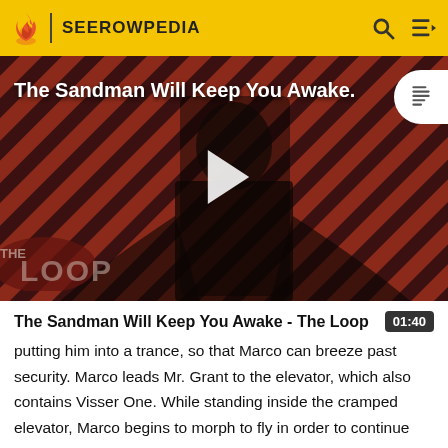SEEROWPEDIA
[Figure (screenshot): Video thumbnail for 'The Sandman Will Keep You Awake - The Loop' showing a dark-cloaked figure against a red and black diagonal striped background with THE LOOP watermark logo and a white play button overlay.]
The Sandman Will Keep You Awake - The Loop
putting him into a trance, so that Marco can breeze past security. Marco leads Mr. Grant to the elevator, which also contains Visser One. While standing inside the cramped elevator, Marco begins to morph to fly in order to continue